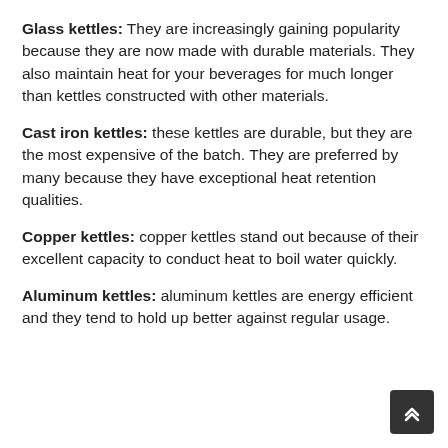Glass kettles: They are increasingly gaining popularity because they are now made with durable materials. They also maintain heat for your beverages for much longer than kettles constructed with other materials.
Cast iron kettles: these kettles are durable, but they are the most expensive of the batch. They are preferred by many because they have exceptional heat retention qualities.
Copper kettles: copper kettles stand out because of their excellent capacity to conduct heat to boil water quickly.
Aluminum kettles: aluminum kettles are energy efficient and they tend to hold up better against regular usage.